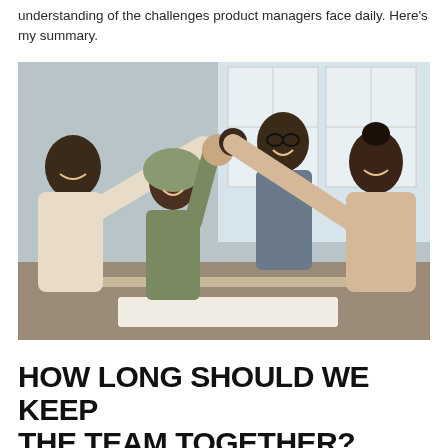understanding of the challenges product managers face daily. Here's my summary.
[Figure (photo): Four people in an office setting doing a group high-five, smiling and celebrating together.]
HOW LONG SHOULD WE KEEP THE TEAM TOGETHER?